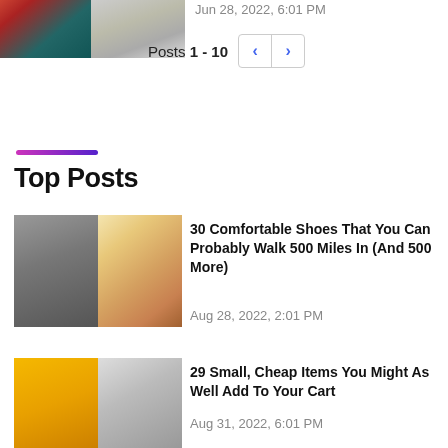[Figure (photo): Two product photos side by side at top of page]
Posts 1 - 10
Top Posts
[Figure (photo): Two shoe photos side by side]
30 Comfortable Shoes That You Can Probably Walk 500 Miles In (And 500 More)
Aug 28, 2022, 2:01 PM
[Figure (photo): Two product photos side by side - yellow background and gold item]
29 Small, Cheap Items You Might As Well Add To Your Cart
Aug 31, 2022, 6:01 PM